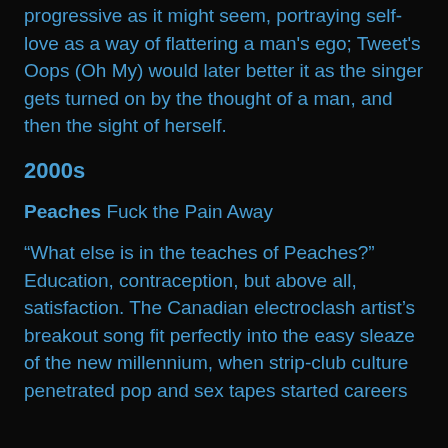progressive as it might seem, portraying self-love as a way of flattering a man's ego; Tweet's Oops (Oh My) would later better it as the singer gets turned on by the thought of a man, and then the sight of herself.
2000s
Peaches Fuck the Pain Away
“What else is in the teaches of Peaches?” Education, contraception, but above all, satisfaction. The Canadian electroclash artist’s breakout song fit perfectly into the easy sleaze of the new millennium, when strip-club culture penetrated pop and sex tapes started careers